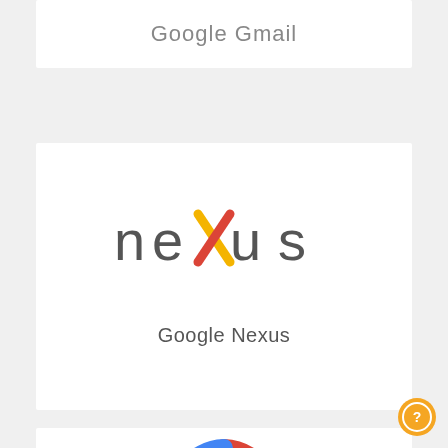Google Gmail
[Figure (logo): Nexus wordmark logo with colorful X in the center — n, e in gray, x as colored cross (yellow/red), u, s in gray — labeled 'Google Nexus' below]
Google Nexus
[Figure (logo): Partial Google 'G' logo in red, blue, yellow, green colors at the bottom of the page]